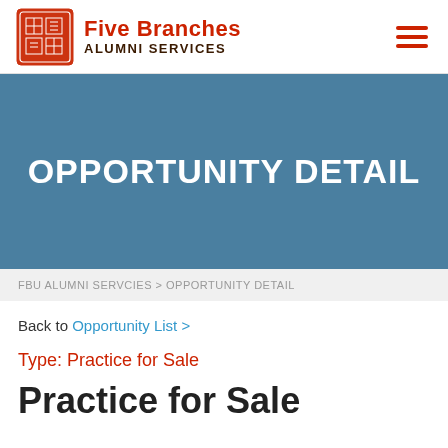Five Branches Alumni Services
OPPORTUNITY DETAIL
FBU ALUMNI SERVCIES > OPPORTUNITY DETAIL
Back to Opportunity List >
Type: Practice for Sale
Practice for Sale